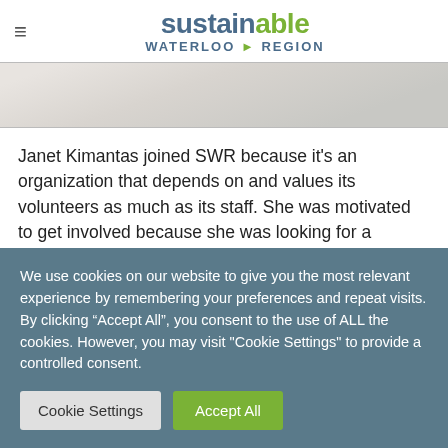sustainable WATERLOO ▸ REGION
[Figure (photo): Partial photo strip showing blurred background image]
Janet Kimantas joined SWR because it’s an organization that depends on and values its volunteers as much as its staff. She was motivated to get involved because she was looking for a challenge that would also be rewarding. Janet believes that what you get out of an experience is based on your
We use cookies on our website to give you the most relevant experience by remembering your preferences and repeat visits. By clicking “Accept All”, you consent to the use of ALL the cookies. However, you may visit "Cookie Settings" to provide a controlled consent.